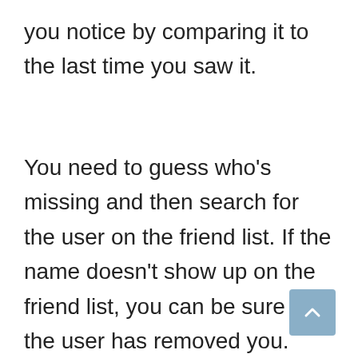you notice by comparing it to the last time you saw it.
You need to guess who’s missing and then search for the user on the friend list. If the name doesn’t show up on the friend list, you can be sure that the user has removed you.